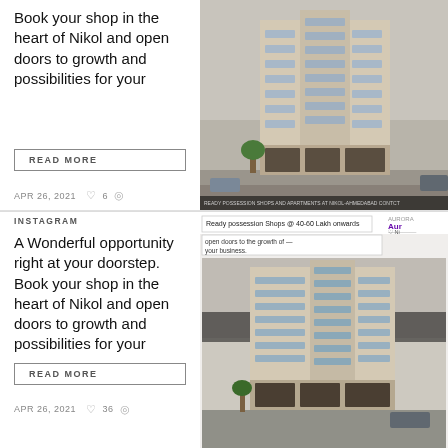Book your shop in the heart of Nikol and open doors to growth and possibilities for your
READ MORE
APR 26, 2021  ♡ 6  ⊕
[Figure (photo): Rendering of a multi-storey commercial/residential building with beige facade, multiple floors with windows, ground floor with shops and trees]
INSTAGRAM
A Wonderful opportunity right at your doorstep. Book your shop in the heart of Nikol and open doors to growth and possibilities for your
READ MORE
APR 26, 2021  ♡ 36  ⊕
[Figure (screenshot): Instagram post screenshot showing: 'Ready possession Shops @ 40-60 Lakh onwards' banner, 'open doors to the growth of your business.' text, and a rendering of a modern multi-storey commercial building. Badge showing 'Au' (Aurora) logo and Ni... location pin.]